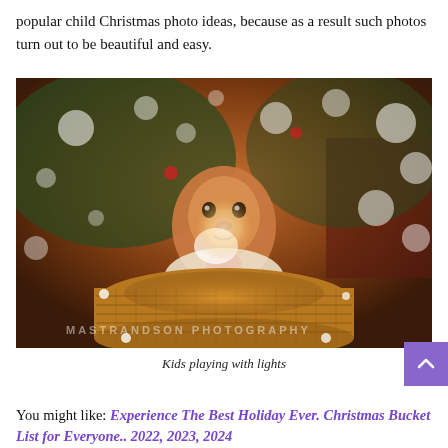popular child Christmas photo ideas, because as a result such photos turn out to be beautiful and easy.
[Figure (photo): A baby sitting inside a wicker basket filled with glowing Christmas lights, with a decorated Christmas tree with bokeh lights in the background. Watermark reads 'MASTRANDSON PHOTOGRAPHY'.]
Kids playing with lights
You might like: Experience The Best Holiday Ever. Christmas Bucket List for Everyone.. 2022, 2023, 2024